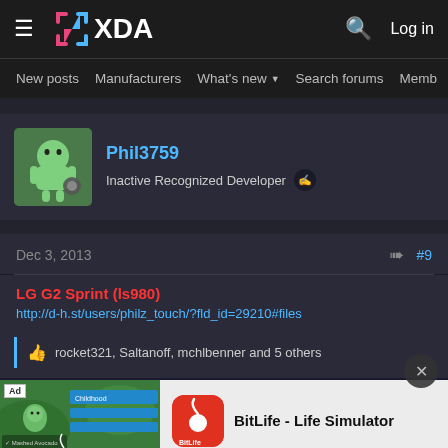XDA Developers — Log in
New posts  Manufacturers  What's new  Search forums  Members
Phil3759
Inactive Recognized Developer
Dec 3, 2013   #9
LG G2 Sprint (ls980)
http://d-h.st/users/philz_touch/?fld_id=29210#files
rocket321, Saltanoff, mchlbenner and 5 others
[Figure (screenshot): BitLife - Life Simulator app advertisement banner with game screenshot and app icon]
Install!